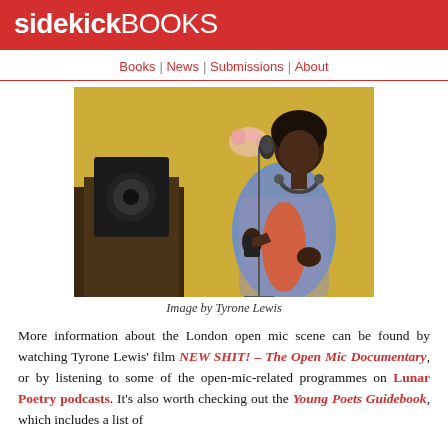sidekickBOOKS
Books | News | Submissions | About
[Figure (photo): Person performing/speaking at a microphone with headphones around neck, wearing a floral jacket, with a speaker and flowers in the background against a yellow wall.]
Image by Tyrone Lewis
More information about the London open mic scene can be found by watching Tyrone Lewis' film NEW SHIT! – The Open Mic Documentary, or by listening to some of the open-mic-related programmes on Lunar Poetry podcasts. It's also worth checking out the Young Poets Guidebook, which includes a list of